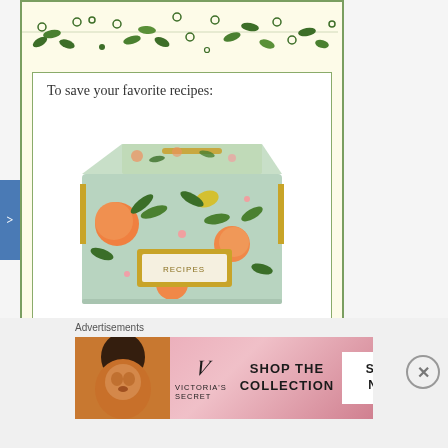[Figure (illustration): Decorative floral/botanical pattern with green leaves and branches on cream/yellow background at top of a bordered card]
To save your favorite recipes:
[Figure (photo): A decorative tin recipe box with floral citrus pattern (oranges, lemons, green leaves) on a mint/sage green background, with a gold label reading RECIPES]
click the recipe box on the left side of the page
Advertisements
[Figure (illustration): Victoria's Secret advertisement banner with model photo on left, VS logo in center, 'SHOP THE COLLECTION' text, and 'SHOP NOW' button on pink gradient background]